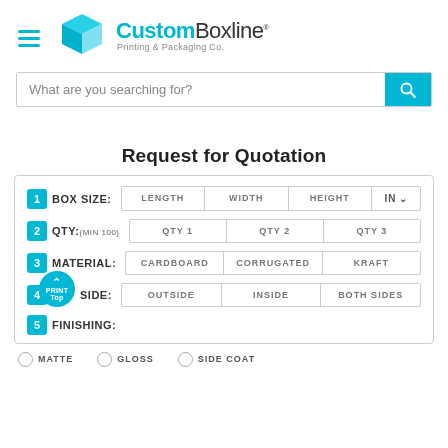[Figure (logo): CustomBoxline logo with cyan 3D box icon, text 'CustomBoxline Printing & Packaging Co.']
What are you searching for?
Request for Quotation
| Step | Field | Col1 | Col2 | Col3 | Col4 |
| --- | --- | --- | --- | --- | --- |
| 1 | BOX SIZE: | LENGTH | WIDTH | HEIGHT | IN |
| 2 | QTY:(MIN 100) | QTY 1 | QTY 2 | QTY 3 |  |
| 3 | MATERIAL: | CARDBOARD | CORRUGATED | KRAFT |  |
| 4 | PRINT SIDE: | OUTSIDE | INSIDE | BOTH SIDES |  |
| 5 | FINISHING: |  |  |  |  |
MATTE   GLOSS   SIDE COAT